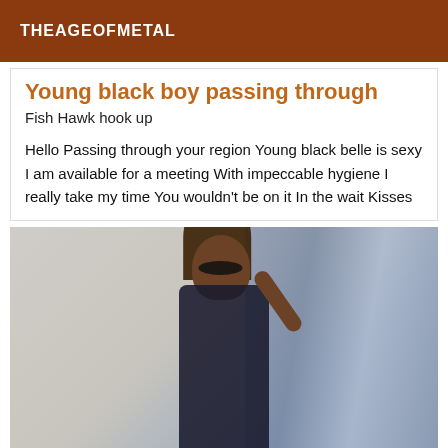THEAGEOFMETAL
Young black boy passing through
Fish Hawk hook up
Hello Passing through your region Young black belle is sexy I am available for a meeting With impeccable hygiene I really take my time You wouldn't be on it In the wait Kisses
[Figure (photo): A young woman with long brown hair, wearing sunglasses and a dark lace outfit, posing with one hand raised near her head. Background shows a light-colored curtain or window.]